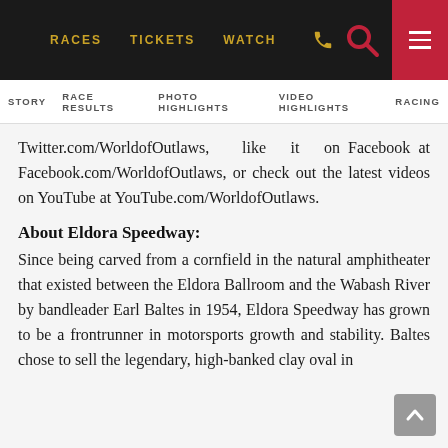RACES  TICKETS  WATCH
STORY  RACE RESULTS  PHOTO HIGHLIGHTS  VIDEO HIGHLIGHTS  RACING
Twitter.com/WorldofOutlaws, like it on Facebook at Facebook.com/WorldofOutlaws, or check out the latest videos on YouTube at YouTube.com/WorldofOutlaws.
About Eldora Speedway:
Since being carved from a cornfield in the natural amphitheater that existed between the Eldora Ballroom and the Wabash River by bandleader Earl Baltes in 1954, Eldora Speedway has grown to be a frontrunner in motorsports growth and stability. Baltes chose to sell the legendary, high-banked clay oval in